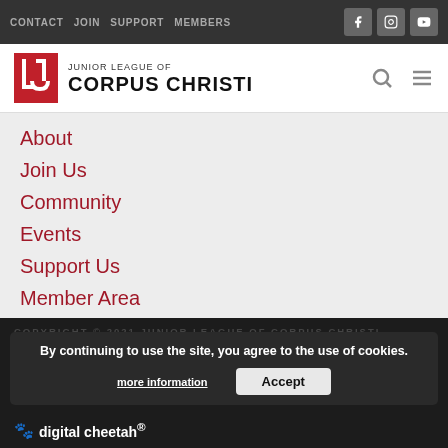CONTACT JOIN SUPPORT MEMBERS
JUNIOR LEAGUE OF CORPUS CHRISTI
About
Join Us
Community
Events
Support Us
Member Area
Make Waves
Past Presidents
By continuing to use the site, you agree to the use of cookies. more information Accept
digital cheetah®